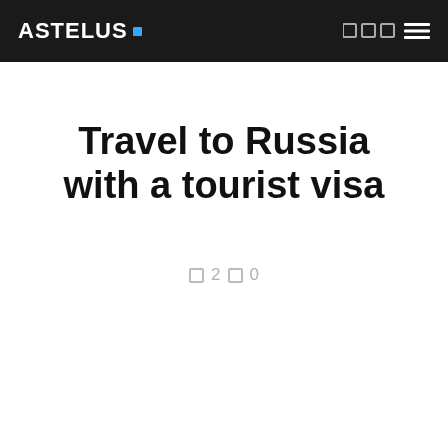ASTELUS .
Travel to Russia with a tourist visa
□ 2 □ 0